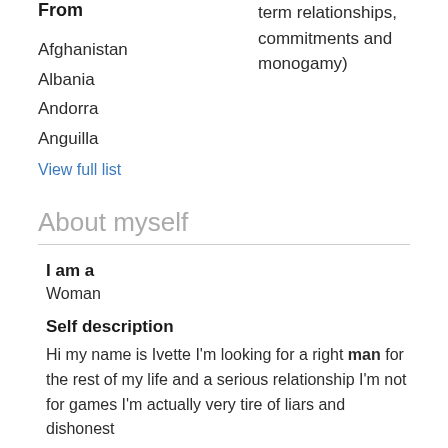From
Afghanistan
Albania
Andorra
Anguilla
View full list
term relationships, commitments and monogamy)
About myself
I am a
Woman
Self description
Hi my name is Ivette I'm looking for a right man for the rest of my life and a serious relationship I'm not for games I'm actually very tire of liars and dishonest